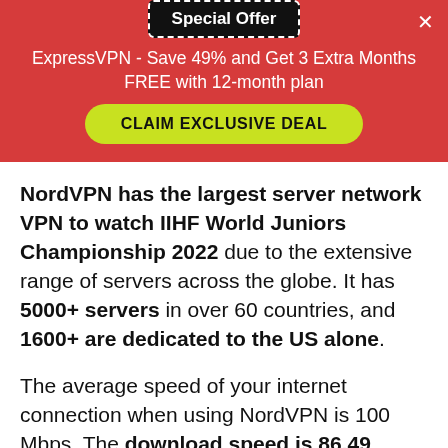Special Offer
ExpressVPN - Save 49% and Get 3 Extra Months FREE with 12-month plan
CLAIM EXCLUSIVE DEAL
NordVPN has the largest server network VPN to watch IIHF World Juniors Championship 2022 due to the extensive range of servers across the globe. It has 5000+ servers in over 60 countries, and 1600+ are dedicated to the US alone.
The average speed of your internet connection when using NordVPN is 100 Mbps. The download speed is 86.49 Mbps and the upload speed is 79.42 Mbps. Because there is